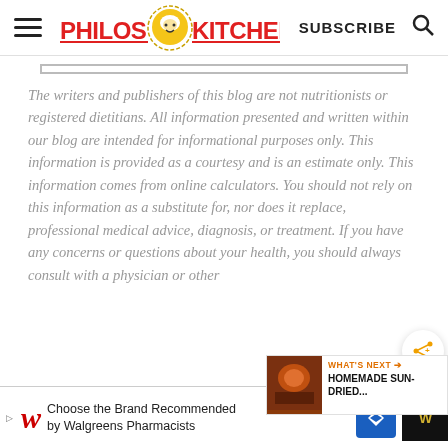[Figure (logo): Philos Kitchen blog logo with hamburger menu icon, red stylized text 'PHILOS KITCHEN', SUBSCRIBE text, and search icon]
The writers and publishers of this blog are not nutritionists or registered dietitians. All information presented and written within our blog are intended for informational purposes only. This information is provided as a courtesy and is an estimate only. This information comes from online calculators. You should not rely on this information as a substitute for, nor does it replace, professional medical advice, diagnosis, or treatment. If you have any concerns or questions about your health, you should always consult with a physician or other
[Figure (infographic): WHAT'S NEXT arrow label with thumbnail image of Homemade Sun-Dried... article promo]
[Figure (infographic): Advertisement bar: Walgreens logo, Choose the Brand Recommended by Walgreens Pharmacists, blue directional sign icon, dark icon with gold W]